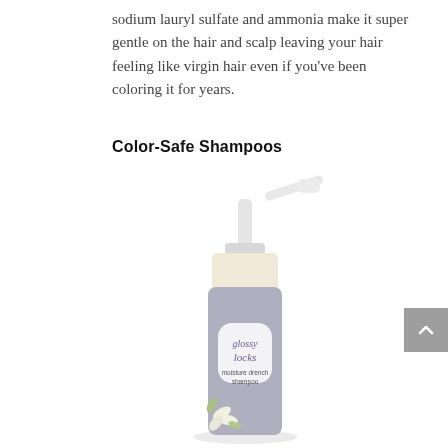sodium lauryl sulfate and ammonia make it super gentle on the hair and scalp leaving your hair feeling like virgin hair even if you've been coloring it for years.
Color-Safe Shampoos
[Figure (photo): A pump bottle of 'glossy locks moisture drench shampoo' with a grey/lavender body, cream-colored top, white pump dispenser, and a label featuring white flowers and green leaves. The bottle is photographed on a white background with a soft shadow.]